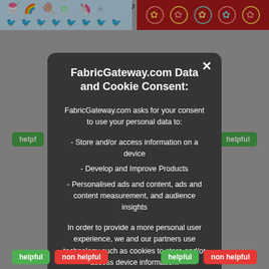[Figure (screenshot): Background showing fabric pattern images and helpful/non-helpful buttons on an e-commerce website]
FabricGateway.com Data and Cookie Consent:
FabricGateway.com asks for your consent to use your personal data to:
- Store and/or access information on a device
- Develop and Improve Products
- Personalised ads and content, ads and content measurement, and audience insights
In order to provide a more personal user experience, we and our partners use technology such as cookies to store and/or access device information.